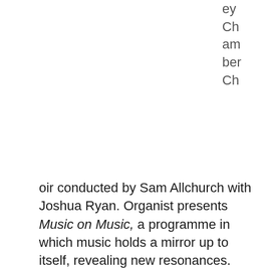ey Chamber Choir conducted by Sam Allchurch with Joshua Ryan. Organist presents Music on Music, a programme in which music holds a mirror up to itself, revealing new resonances. From the purity of Josquin, Byrd and Palestrina to the humanity of Britten's Rejoice in the Lamb and the sheer delight of Bach's motet Singet dem Herrn, this program of music about music takes us deep inside the mysterious beauty of melody, harmony and the human voice.
Palestrina starts from first principles with his Mass